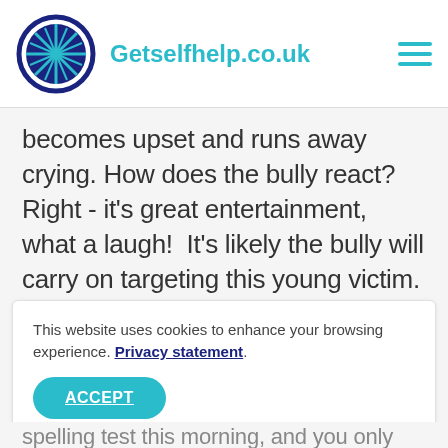Getselfhelp.co.uk
becomes upset and runs away crying. How does the bully react?  Right - it's great entertainment, what a laugh!  It's likely the bully will carry on targeting this young victim.
This website uses cookies to enhance your browsing experience. Privacy statement. ACCEPT
spelling test this morning, and you only got